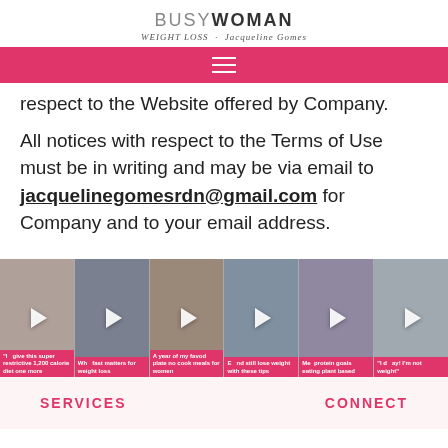BUSY WOMAN WEIGHT LOSS · Jacqueline Gomes
respect to the Website offered by Company.
All notices with respect to the Terms of Use must be in writing and may be via email to jacquelinegomesrdn@gmail.com for Company and to your email address.
[Figure (screenshot): A horizontal strip of 6 video thumbnails, each showing a woman's face with a white play button overlay and a pink caption bar at the bottom with text about weight loss topics.]
SERVICES   CONNECT